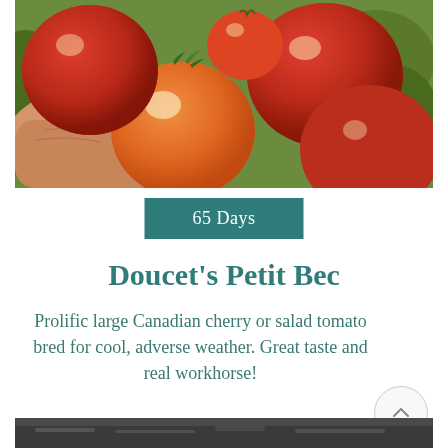[Figure (photo): Close-up photo of a hand holding several small red and orange cherry tomatoes with green stems against a garden background]
65 Days
Doucet's Petit Bec
Prolific large Canadian cherry or salad tomato bred for cool, adverse weather. Great taste and real workhorse!
[Figure (photo): Partial bottom photo showing a dark background, likely more tomatoes or garden scene]